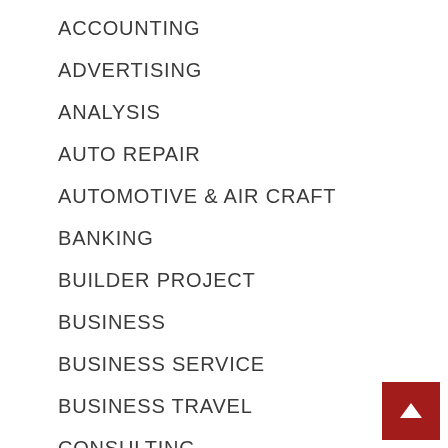ACCOUNTING
ADVERTISING
ANALYSIS
AUTO REPAIR
AUTOMOTIVE & AIR CRAFT
BANKING
BUILDER PROJECT
BUSINESS
BUSINESS SERVICE
BUSINESS TRAVEL
CONSULTING
CONVERSATIONAL MARKETING
CREATIVE